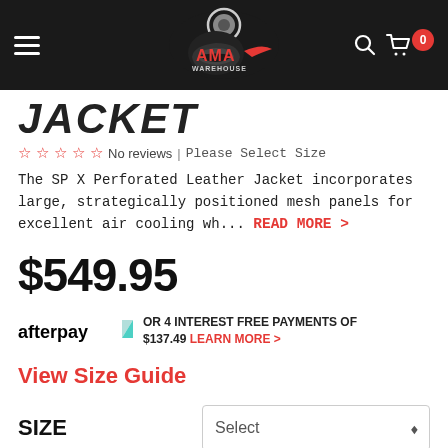[Figure (logo): AMA Warehouse logo on dark header navigation bar with hamburger menu, search icon, cart icon with 0 badge]
JACKET
☆☆☆☆☆ No reviews | Please Select Size
The SP X Perforated Leather Jacket incorporates large, strategically positioned mesh panels for excellent air cooling wh... READ MORE >
$549.95
afterpay OR 4 INTEREST FREE PAYMENTS OF $137.49 LEARN MORE >
View Size Guide
SIZE  Select